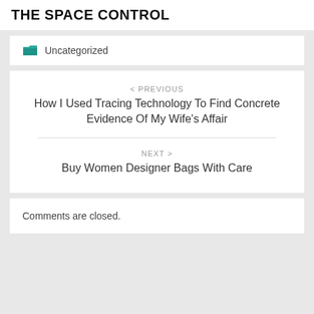THE SPACE CONTROL
Uncategorized
< PREVIOUS
How I Used Tracing Technology To Find Concrete Evidence Of My Wife's Affair
NEXT >
Buy Women Designer Bags With Care
Comments are closed.